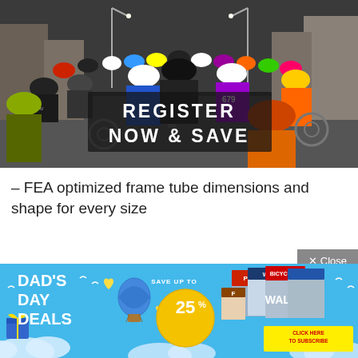[Figure (photo): Large crowd of cyclists on a town street, photographed from behind, with an overlay text reading REGISTER NOW & SAVE]
– FEA optimized frame tube dimensions and shape for every size
– 12mm stealth ultralight thru-axles
[Figure (advertisement): Dad's Day Deals advertisement banner with blue background, SAVE UP TO 25% yellow circle, balloon graphic, magazine covers, and CLICK HERE TO SUBSCRIBE button]